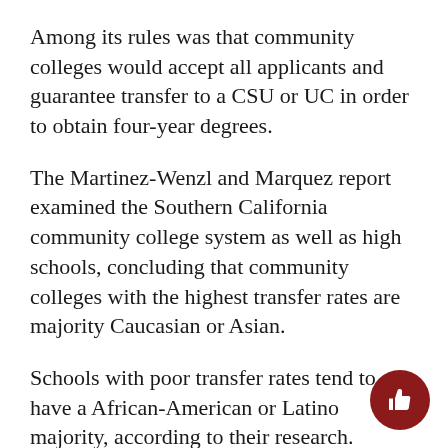Among its rules was that community colleges would accept all applicants and guarantee transfer to a CSU or UC in order to obtain four-year degrees.
The Martinez-Wenzl and Marquez report examined the Southern California community college system as well as high schools, concluding that community colleges with the highest transfer rates are majority Caucasian or Asian.
Schools with poor transfer rates tend to have a African-American or Latino majority, according to their research.
The authors propose a solution: to recognize and reward high transfer rate schools through financial and academic means.
By informing students and parents of community colleges with high transfer rates, they are promoting...